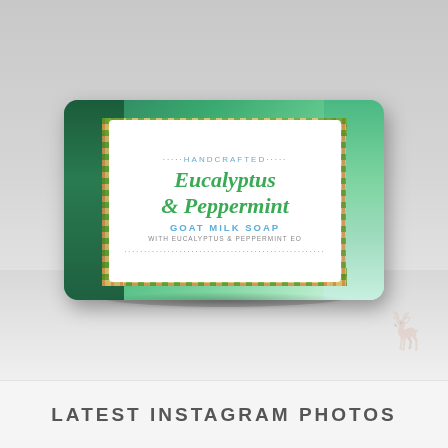[Figure (photo): A bar of Eucalyptus & Peppermint Goat Milk Soap with a white label wrapped around it. The soap has a green color with lighter teal gradient on one side. The label reads: HANDCRAFTED / Eucalyptus & Peppermint / GOAT MILK SOAP / WITH EUCALYPTUS & PEPPERMINT EO. The label has a gingham/checkered ribbon border in green and red/gold. A faint deer watermark logo appears in the lower right background.]
LATEST INSTAGRAM PHOTOS